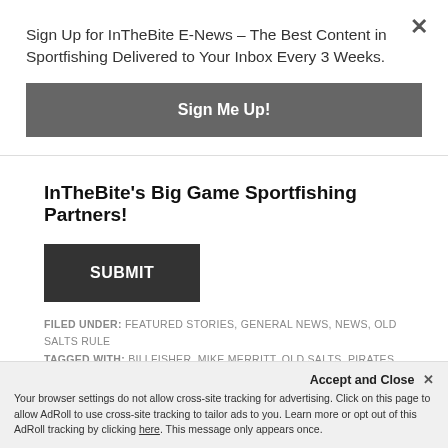Sign Up for InTheBite E-News – The Best Content in Sportfishing Delivered to Your Inbox Every 3 Weeks.
Sign Me Up!
InTheBite's Big Game Sportfishing Partners!
SUBMIT
FILED UNDER: FEATURED STORIES, GENERAL NEWS, NEWS, OLD SALTS RULE
TAGGED WITH: BILLFISHER, MIKE MERRITT, OLD SALTS, PIRATES COVE, SANDRA D
Accept and Close ✕
Your browser settings do not allow cross-site tracking for advertising. Click on this page to allow AdRoll to use cross-site tracking to tailor ads to you. Learn more or opt out of this AdRoll tracking by clicking here. This message only appears once.